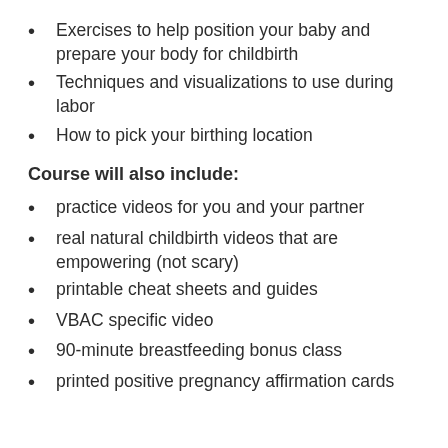Exercises to help position your baby and prepare your body for childbirth
Techniques and visualizations to use during labor
How to pick your birthing location
Course will also include:
practice videos for you and your partner
real natural childbirth videos that are empowering (not scary)
printable cheat sheets and guides
VBAC specific video
90-minute breastfeeding bonus class
printed positive pregnancy affirmation cards